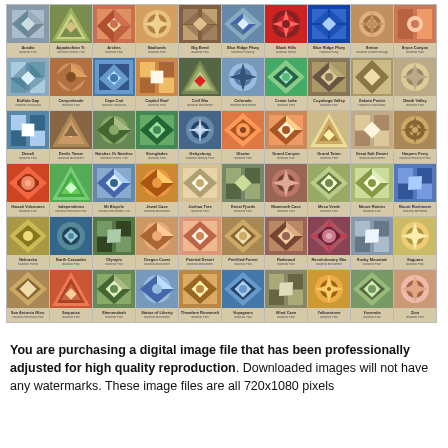[Figure (illustration): A 6x10 grid of colorful quilt pattern cards, each showing a decorative geometric quilt block design with a label underneath naming a US National Park or landmark. The quilts display various traditional quilt patterns in earth tones, blues, greens, reds, and golds. Labels visible include: Acadia, Appalachian Trail, Arches, Badlands, Big Bend, Blue Ridge Parkway, Black Hills, Blue Ridge Parkway, Breton, Bryce Canyon, Buffalo Gap, Canyonlands, Cape Cod, Capitol Reef, Civil War, Colorado, Crater Lake, Cuyahoga Valley, Dakota Prairie, Death Valley, Denali, Devils Tower, Natchez Or Natchez, Everglades, Gettysburg, Glacier, Grand Canyon, Grand Teton, Great Salt Desert, Hagans Ferry, Hawaii Volcanoes, Independence, Mt Bicycle, Jewel Cave, Joshua Tree, Kenai Fjords, Mammoth Cave, Mesa Verde, Mount Rainier, Mount Rushmore, Nebraska, North Cascades, Olympic, Oregon Coast, Painted Desert, Petrified Forest, Redwood, Revolutionary War, Rocky Mountain, Saguaro, San Antonio Missions, Sequoias, Shenandoah, Statue of Liberty, Theodore Roosevelt, Voyageurs, Wind Cave, Yellowstone, Yosemite, Zion]
You are purchasing a digital image file that has been professionally adjusted for high quality reproduction. Downloaded images will not have any watermarks. These image files are all 720x1080 pixels